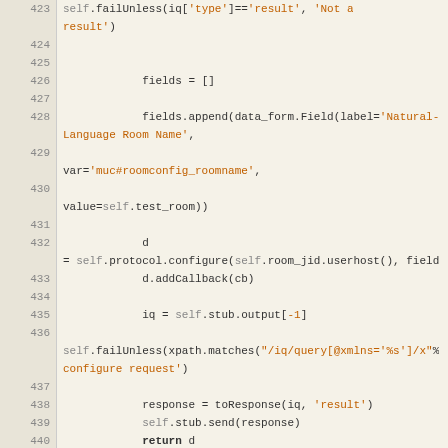[Figure (screenshot): Python source code viewer showing lines 423-449 with line numbers, syntax highlighting for a test method including failUnless, fields, data_form.Field, protocol.configure, addCallback, stub, toResponse, return, def test_roomDestroy, and def cb(destroyed) calls.]